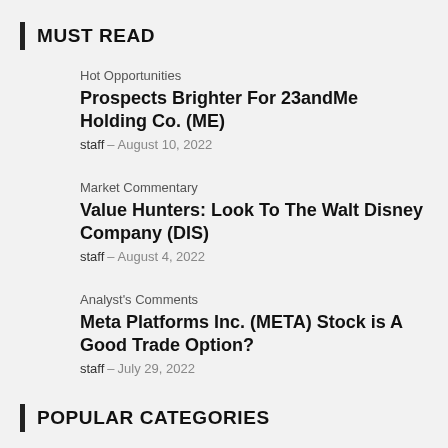MUST READ
Hot Opportunities
Prospects Brighter For 23andMe Holding Co. (ME)
staff – August 10, 2022
Market Commentary
Value Hunters: Look To The Walt Disney Company (DIS)
staff – August 4, 2022
Analyst's Comments
Meta Platforms Inc. (META) Stock is A Good Trade Option?
staff – July 29, 2022
POPULAR CATEGORIES